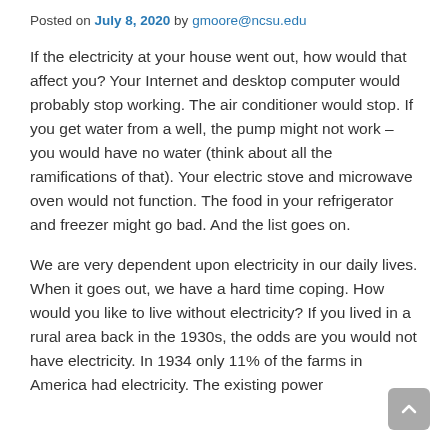Posted on July 8, 2020 by gmoore@ncsu.edu
If the electricity at your house went out, how would that affect you? Your Internet and desktop computer would probably stop working. The air conditioner would stop. If you get water from a well, the pump might not work – you would have no water (think about all the ramifications of that). Your electric stove and microwave oven would not function. The food in your refrigerator and freezer might go bad. And the list goes on.
We are very dependent upon electricity in our daily lives. When it goes out, we have a hard time coping. How would you like to live without electricity? If you lived in a rural area back in the 1930s, the odds are you would not have electricity. In 1934 only 11% of the farms in America had electricity. The existing power